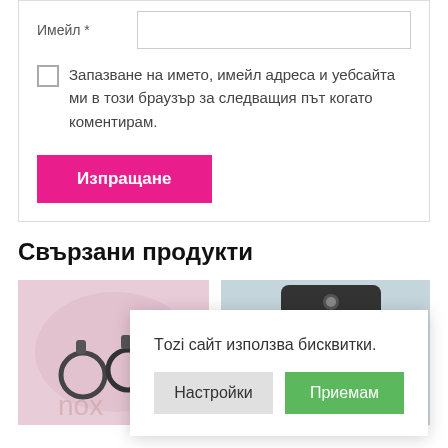Имейл *
Запазване на името, имейл адреса и уебсайта ми в този браузър за следващия път когато коментирам.
Изпращане
Свързани продукти
[Figure (photo): Product image left - earrings on pink background]
[Figure (photo): Product image right - item on light blue background with tag]
Този сайт използва бисквитки.
Настройки
Приемам